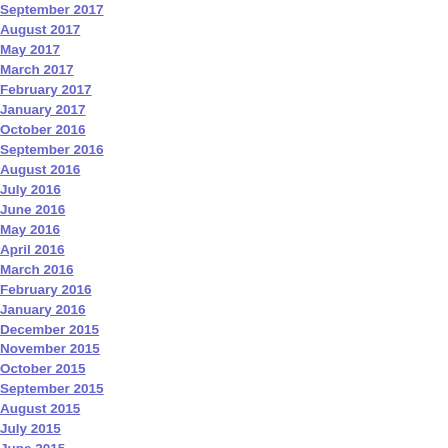September 2017
August 2017
May 2017
March 2017
February 2017
January 2017
October 2016
September 2016
August 2016
July 2016
June 2016
May 2016
April 2016
March 2016
February 2016
January 2016
December 2015
November 2015
October 2015
September 2015
August 2015
July 2015
June 2015
May 2015
April 2015
March 2015
February 2015
January 2015